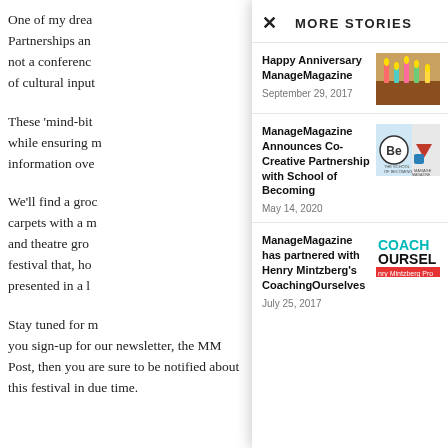One of my drea... Partnerships an... not a conferenc... of cultural input...
These ‘mind-bit... while ensuring m... information ove...
We’ll find a groc... carpets with a m... and theatre gro... festival that, ho... presented in a l...
Stay tuned for m... you sign-up for our newsletter, the MM Post, then you are sure to be notified about this festival in due time.
MORE STORIES
Happy Anniversary ManageMagazine
September 29, 2017
[Figure (photo): Colorful birthday candles photo]
ManageMagazine Announces Co-Creative Partnership with School of Becoming
May 14, 2020
[Figure (photo): The School of Becoming and Manage Magazine logos]
ManageMagazine has partnered with Henry Mintzberg’s CoachingOurselves
July 25, 2017
[Figure (logo): CoachingOurselves / Henry Mintzberg Pro logo]